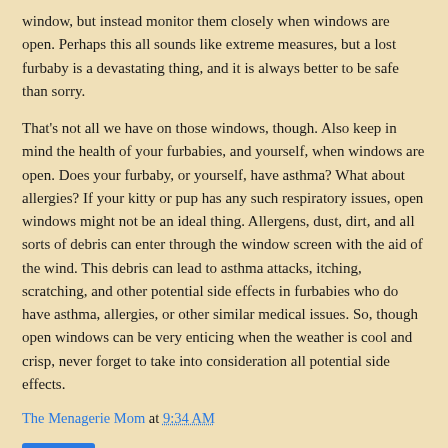window, but instead monitor them closely when windows are open. Perhaps this all sounds like extreme measures, but a lost furbaby is a devastating thing, and it is always better to be safe than sorry.
That's not all we have on those windows, though. Also keep in mind the health of your furbabies, and yourself, when windows are open. Does your furbaby, or yourself, have asthma? What about allergies? If your kitty or pup has any such respiratory issues, open windows might not be an ideal thing. Allergens, dust, dirt, and all sorts of debris can enter through the window screen with the aid of the wind. This debris can lead to asthma attacks, itching, scratching, and other potential side effects in furbabies who do have asthma, allergies, or other similar medical issues. So, though open windows can be very enticing when the weather is cool and crisp, never forget to take into consideration all potential side effects.
The Menagerie Mom at 9:34 AM
Share